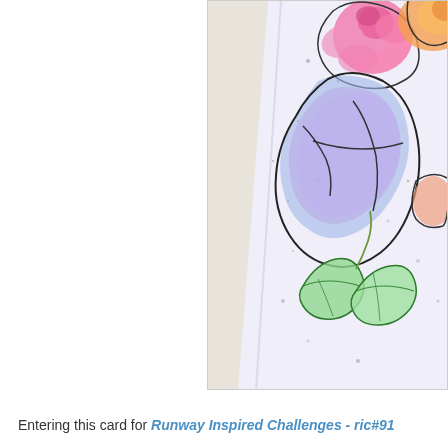[Figure (photo): A close-up photo of a handmade greeting card featuring watercolor-painted floral and decorative elements including pink flowers, a blue/purple watercolor shape resembling a cross or letter, green leaves, and ink splatters on a light lavender/white textured cardstock background. The card is photographed at an angle on a beige/cream textured surface.]
Entering this card for Runway Inspired Challenges - ric#91